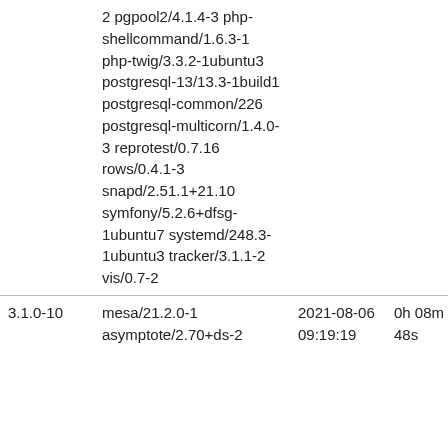2 pgpool2/4.1.4-3 php-shellcommand/1.6.3-1 php-twig/3.3.2-1ubuntu3 postgresql-13/13.3-1build1 postgresql-common/226 postgresql-multicorn/1.4.0-3 reprotest/0.7.16 rows/0.4.1-3 snapd/2.51.1+21.10 symfony/5.2.6+dfsg-1ubuntu7 systemd/248.3-1ubuntu3 tracker/3.1.1-2 vis/0.7-2
3.1.0-10	mesa/21.2.0-1 asymptote/2.70+ds-2	2021-08-06 09:19:19	0h 08m 48s	-